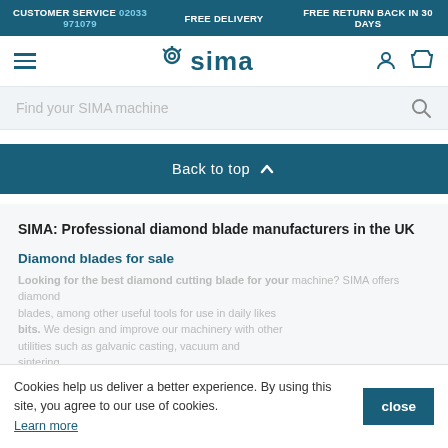CUSTOMER SERVICE 02033 971079 | FREE DELIVERY | FREE RETURN BACK IN 30 DAYS
[Figure (logo): SIMA logo with icon]
Find your SIMA machine
Back to top
SIMA: Professional diamond blade manufacturers in the UK
Diamond blades for sale
Looking for the best diamond cutting blade for your machine? SIMA offers diamond blades, among other useful tools for use in daily likes bits. We design and improve our machinery with other utilities such as galvanic casting, vacuum and sintering.
Cookies help us deliver a better experience. By using this site, you agree to our use of cookies. Learn more